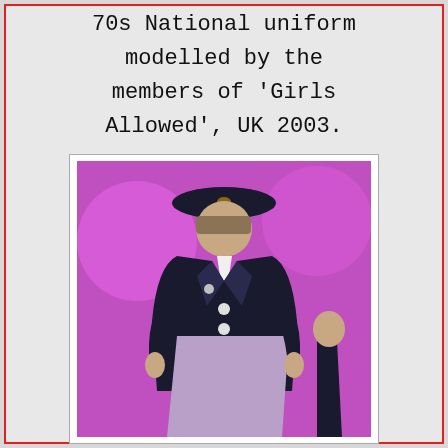70s National uniform modelled by the members of 'Girls Allowed', UK 2003.
[Figure (photo): Person wearing a WW2 era Girl Guides uniform with dark jacket, lavender dress, and dark hat, modelled against a pink/magenta background.]
Tv0712
Ww2 era uniform modelled by the members of 'Girls